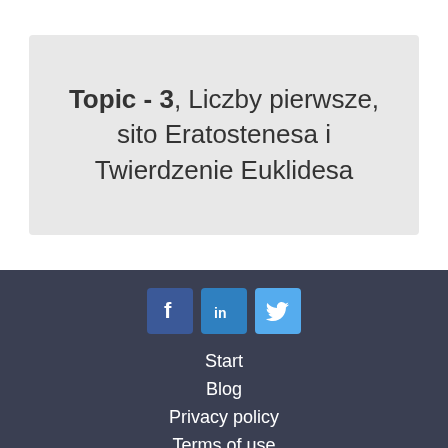Topic - 3, Liczby pierwsze, sito Eratostenesa i Twierdzenie Euklidesa
[Figure (other): Social media icons: Facebook, LinkedIn, Twitter]
Start
Blog
Privacy policy
Terms of use
Cookies policy